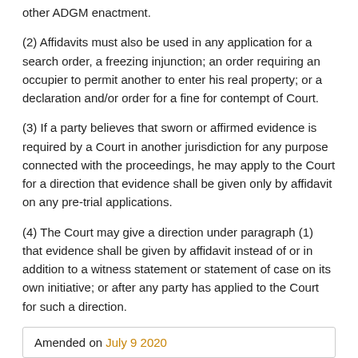other ADGM enactment.
(2) Affidavits must also be used in any application for a search order, a freezing injunction; an order requiring an occupier to permit another to enter his real property; or a declaration and/or order for a fine for contempt of Court.
(3) If a party believes that sworn or affirmed evidence is required by a Court in another jurisdiction for any purpose connected with the proceedings, he may apply to the Court for a direction that evidence shall be given only by affidavit on any pre-trial applications.
(4) The Court may give a direction under paragraph (1) that evidence shall be given by affidavit instead of or in addition to a witness statement or statement of case on its own initiative; or after any party has applied to the Court for such a direction.
Amended on July 9 2020
109. Notice to admit facts